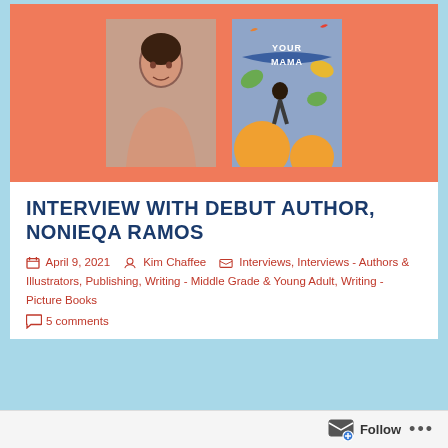[Figure (photo): Banner image with salmon/orange background showing a photo of author Nonieqa Ramos on the left and the book cover 'Your Mama' on the right]
INTERVIEW WITH DEBUT AUTHOR, NONIEQA RAMOS
April 9, 2021   Kim Chaffee   Interviews, Interviews - Authors & Illustrators, Publishing, Writing - Middle Grade & Young Adult, Writing - Picture Books
5 comments